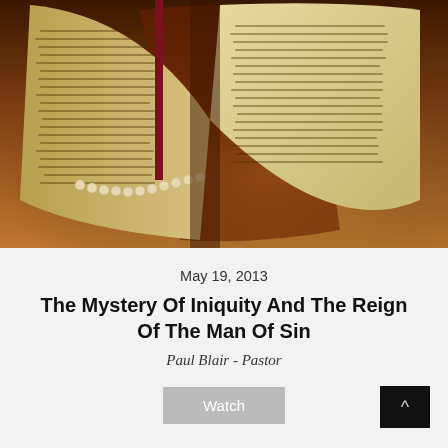[Figure (photo): Open Bible with gold-edged pages on a wooden surface, warm brown tones]
May 19, 2013
The Mystery Of Iniquity And The Reign Of The Man Of Sin
Paul Blair - Pastor
Watch
[Figure (photo): Dispensationalism book cover with warm orange-brown gradient background and white serif text reading 'Dispensationalism']